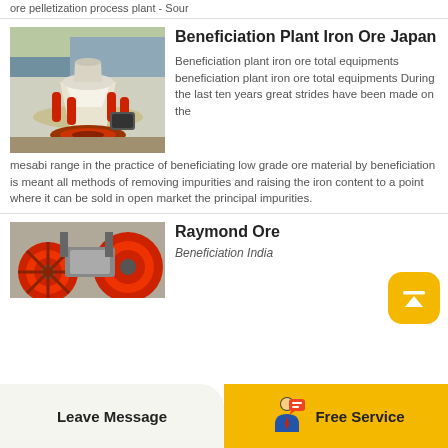ore pelletization process plant - Sour
[Figure (photo): Industrial mining equipment - cone crusher machine in outdoor setting]
Beneficiation Plant Iron Ore Japan
Beneficiation plant iron ore total equipments beneficiation plant iron ore total equipments During the last ten years great strides have been made on the mesabi range in the practice of beneficiating low grade ore material by beneficiation is meant all methods of removing impurities and raising the iron content to a point where it can be sold in open market the principal impurities.
[Figure (photo): Industrial ore processing machinery with red wheel components]
Raymond Ore
Beneficiation India
Leave Message
Free Service